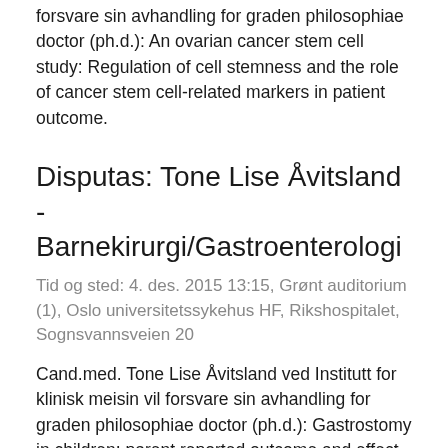forsvare sin avhandling for graden philosophiae doctor (ph.d.): An ovarian cancer stem cell study: Regulation of cell stemness and the role of cancer stem cell-related markers in patient outcome.
Disputas: Tone Lise Åvitsland - Barnekirurgi/Gastroenterologi
Tid og sted: 4. des. 2015 13:15, Grønt auditorium (1), Oslo universitetssykehus HF, Rikshospitalet, Sognsvannsveien 20
Cand.med. Tone Lise Åvitsland ved Institutt for klinisk meisin vil forsvare sin avhandling for graden philosophiae doctor (ph.d.): Gastrostomy in children; parent reported outcome and effect on maternal psychological distress